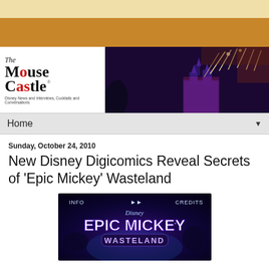[Figure (screenshot): The Mouse Castle website header with logo on left and fireworks over Disneyland castle on right, with orange and tan top bars]
Home
Sunday, October 24, 2010
New Disney Digicomics Reveal Secrets of 'Epic Mickey' Wasteland
[Figure (screenshot): Disney Epic Mickey Wasteland game title screen with purple/blue fantasy background, showing INFO and CREDITS buttons]